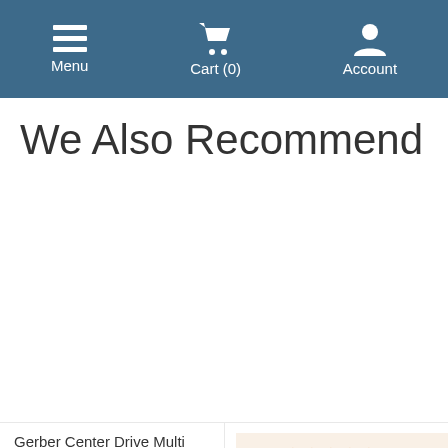Menu  Cart (0)  Account
We Also Recommend
Gerber Center Drive Multi Tool
Gerber
[Figure (infographic): Google Customer Reviews badge showing 4.8 star rating with 5 orange stars, label 'Google Customer Reviews']